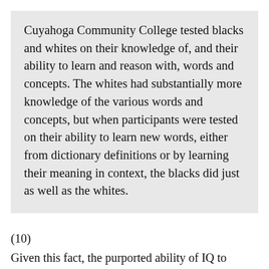Cuyahoga Community College tested blacks and whites on their knowledge of, and their ability to learn and reason with, words and concepts. The whites had substantially more knowledge of the various words and concepts, but when participants were tested on their ability to learn new words, either from dictionary definitions or by learning their meaning in context, the blacks did just as well as the whites.
(10)
Given this fact, the purported ability of IQ to predict future performance in society, supposedly based on racial ‘general intelligence’, may well be